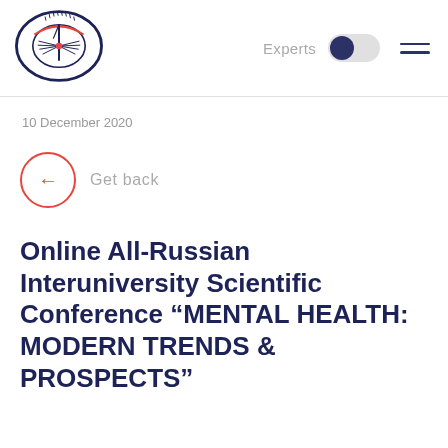[Figure (logo): Circular eye/compass logo with red and dark blue colors, organization logo]
Experts
10 December 2020
Get back
Online All-Russian Interuniversity Scientific Conference “MENTAL HEALTH: MODERN TRENDS & PROSPECTS”